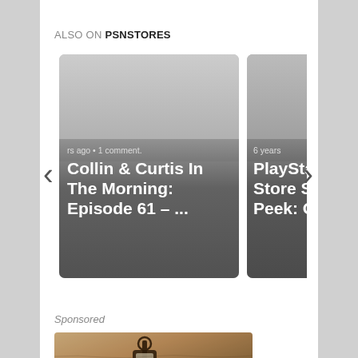ALSO ON PSNSTORES
[Figure (screenshot): Carousel of two article cards. Left card shows 'rs ago • 1 comment.' and title 'Collin & Curtis In The Morning: Episode 61 – ...'. Right card shows '6 years' and title 'PlaySta... Store Sn... Peek: O...' with navigation arrows on each side.]
Sponsored
[Figure (photo): Sponsored image showing an outdoor lantern/lamp mounted on a textured stucco wall.]